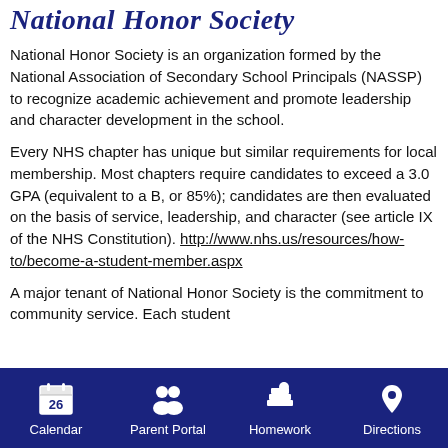National Honor Society
National Honor Society is an organization formed by the National Association of Secondary School Principals (NASSP) to recognize academic achievement and promote leadership and character development in the school.
Every NHS chapter has unique but similar requirements for local membership. Most chapters require candidates to exceed a 3.0 GPA (equivalent to a B, or 85%); candidates are then evaluated on the basis of service, leadership, and character (see article IX of the NHS Constitution). http://www.nhs.us/resources/how-to/become-a-student-member.aspx
A major tenant of National Honor Society is the commitment to community service. Each student
Calendar  Parent Portal  Homework  Directions